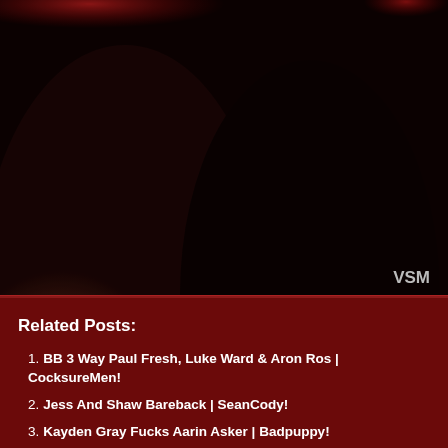[Figure (photo): Close-up photo of two muscular thighs/legs with dark background and VSM watermark in bottom right corner]
Related Posts:
BB 3 Way Paul Fresh, Luke Ward & Aron Ros | CocksureMen!
Jess And Shaw Bareback | SeanCody!
Kayden Gray Fucks Aarin Asker | Badpuppy!
Jason Smith Barebacks Geoffrey Lloyd | Cocksuremen!